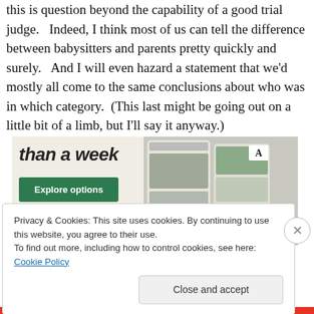this is question beyond the capability of a good trial judge.   Indeed, I think most of us can tell the difference between babysitters and parents pretty quickly and surely.   And I will even hazard a statement that we'd mostly all come to the same conclusions about who was in which category.  (This last might be going out on a little bit of a limb, but I'll say it anyway.)
[Figure (screenshot): Advertisement banner with text 'than a week' in bold italic, a green 'Explore options' button, an 'A' logo, and food/lifestyle app screenshots on the right.]
Privacy & Cookies: This site uses cookies. By continuing to use this website, you agree to their use.
To find out more, including how to control cookies, see here: Cookie Policy
Close and accept